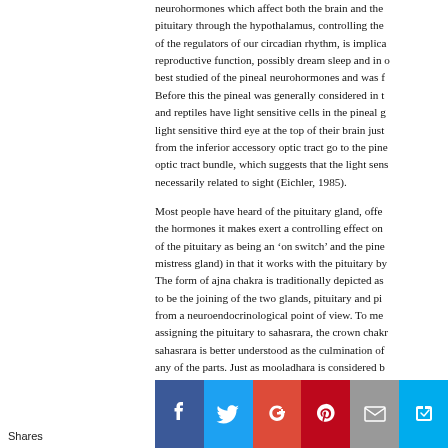neurohormones which affect both the brain and the pituitary through the hypothalamus, controlling the of the regulators of our circadian rhythm, is implica reproductive function, possibly dream sleep and in o best studied of the pineal neurohormones and was f Before this the pineal was generally considered in t and reptiles have light sensitive cells in the pineal g light sensitive third eye at the top of their brain just from the inferior accessory optic tract go to the pine optic tract bundle, which suggests that the light sens necessarily related to sight (Eichler, 1985).

Most people have heard of the pituitary gland, offe the hormones it makes exert a controlling effect on of the pituitary as being an 'on switch' and the pine mistress gland) in that it works with the pituitary by The form of ajna chakra is traditionally depicted as to be the joining of the two glands, pituitary and pi from a neuroendocrinological point of view. To me assigning the pituitary to sahasrara, the crown chak sahasrara is better understood as the culmination of any of the parts. Just as mooladhara is considered b
Shares